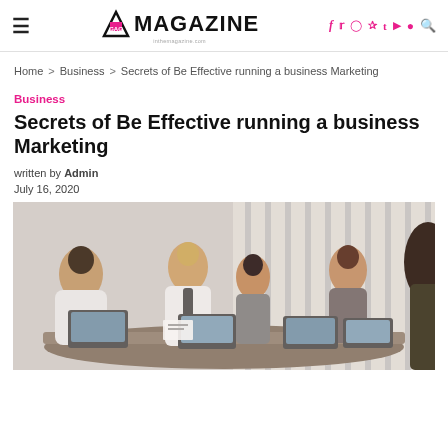GAG MAGAZINE — navigation header with hamburger menu, logo, social icons (f, twitter, instagram, pinterest, tumblr, youtube, snapchat), and search
Home > Business > Secrets of Be Effective running a business Marketing
Business
Secrets of Be Effective running a business Marketing
written by Admin
July 16, 2020
[Figure (photo): Business meeting scene: several professionals sitting around a table with laptops, papers, engaged in discussion in a bright office setting]